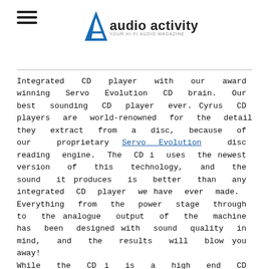[Figure (logo): Audio Activity logo with stylized blue A and text 'audio activity' with tagline below]
Integrated CD player with our award winning Servo Evolution CD brain. Our best sounding CD player ever. Cyrus CD players are world-renowned for the detail they extract from a disc, because of our proprietary Servo Evolution disc reading engine. The CD i uses the newest version of this technology, and the sound it produces is better than any integrated CD player we have ever made.
Everything from the power stage through to the analogue output of the machine has been designed with sound quality in mind, and the results will blow you away!
While the CD i is a high end CD player, it has been designed to introduce new people to the joys of hi-fi. Experience your music in the greatest detail, with easy set up and control.

The high quality components in the CD i mean that